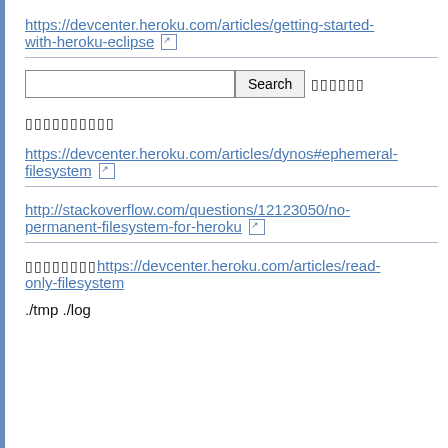https://devcenter.heroku.com/articles/getting-started-with-heroku-eclipse [ext link icon]
[Figure (other): Search input box with Search button and garbled characters to the right]
[garbled characters]
https://devcenter.heroku.com/articles/dynos#ephemeral-filesystem [ext link icon]
http://stackoverflow.com/questions/12123050/no-permanent-filesystem-for-heroku [ext link icon]
[garbled characters]https://devcenter.heroku.com/articles/read-only-filesystem
./tmp ./log